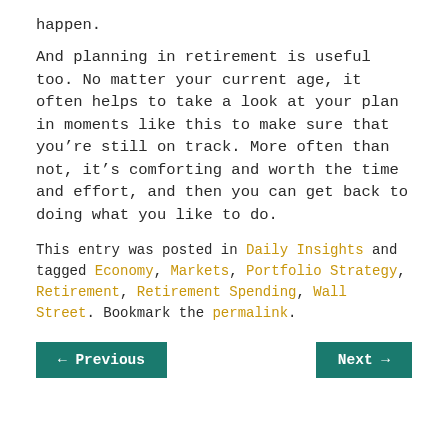happen.
And planning in retirement is useful too. No matter your current age, it often helps to take a look at your plan in moments like this to make sure that you’re still on track. More often than not, it’s comforting and worth the time and effort, and then you can get back to doing what you like to do.
This entry was posted in Daily Insights and tagged Economy, Markets, Portfolio Strategy, Retirement, Retirement Spending, Wall Street. Bookmark the permalink.
← Previous    Next →